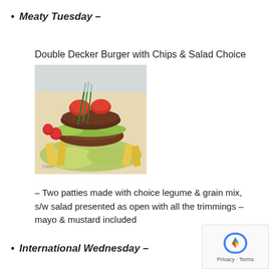Meaty Tuesday –
Double Decker Burger with Chips & Salad Choice
[Figure (photo): A double decker burger with chips and salad, presented open-faced with tomatoes, lettuce, and chive garnish on a white plate.]
– Two patties made with choice legume & grain mix, s/w salad presented as open with all the trimmings – mayo & mustard included
International Wednesday –